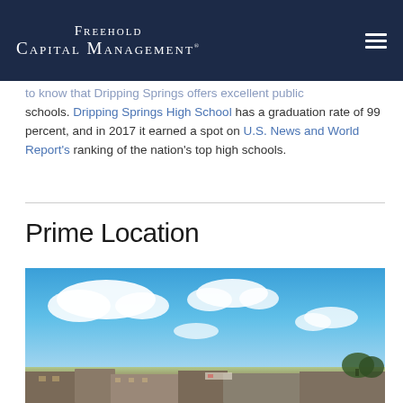Freehold Capital Management
to know that Dripping Springs offers excellent public schools. Dripping Springs High School has a graduation rate of 99 percent, and in 2017 it earned a spot on U.S. News and World Report's ranking of the nation's top high schools.
Prime Location
[Figure (photo): Exterior photo of a commercial property under blue sky with clouds, showing a strip mall or retail center with signage visible, located in Dripping Springs area.]